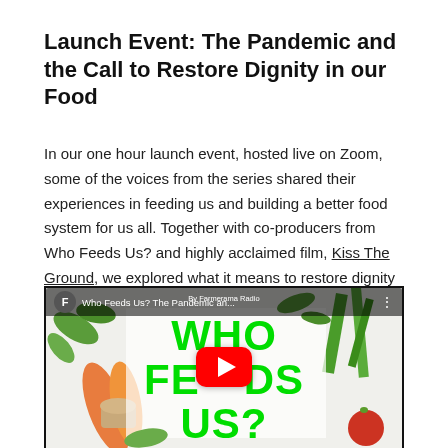Launch Event: The Pandemic and the Call to Restore Dignity in our Food
In our one hour launch event, hosted live on Zoom, some of the voices from the series shared their experiences in feeding us and building a better food system for us all. Together with co-producers from Who Feeds Us? and highly acclaimed film, Kiss The Ground, we explored what it means to restore dignity to our food.
[Figure (screenshot): YouTube video thumbnail showing 'Who Feeds Us? The Pandemic an...' with green text reading WHO FEEDS US? over a vegetable illustration background, with a YouTube play button in the center. The video is by Farmerama Radio.]